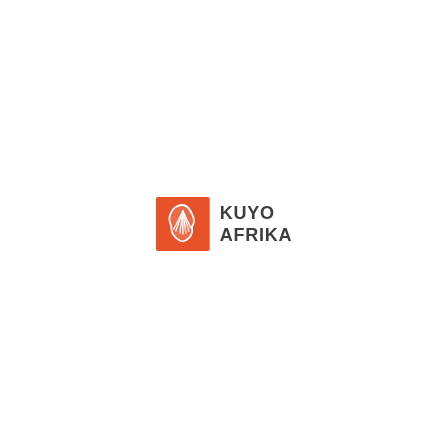[Figure (logo): Kuyo Afrika logo: an orange square containing a white stylized Africa continent icon with fan/shell-like lines, next to the text KUYO AFRIKA in dark gray bold sans-serif font on two lines]